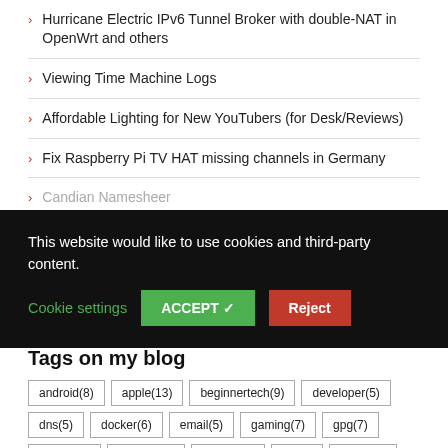Hurricane Electric IPv6 Tunnel Broker with double-NAT in OpenWrt and others
Viewing Time Machine Logs
Affordable Lighting for New YouTubers (for Desk/Reviews)
Fix Raspberry Pi TV HAT missing channels in Germany
Candian Namesheer
This website would like to use cookies and third-party content. Cookie settings ACCEPT ✓ Reject
Tags on my blog
android(8)
apple(13)
beginnertech(9)
developer(5)
dns(5)
docker(6)
email(5)
gaming(7)
gpg(7)
guide(16)
hacking(4)
infosec(4)
ios(6)
linux(49)
mac(24)
meta(14)
minecraft(9)
news(16)